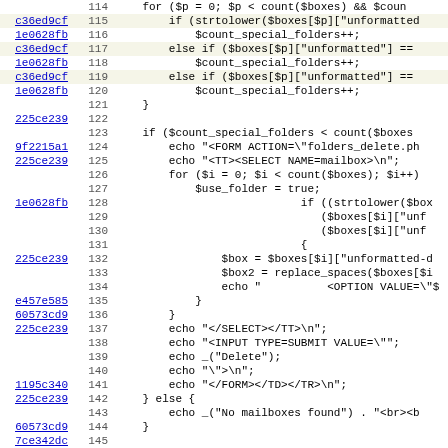[Figure (screenshot): Source code viewer showing PHP code lines 114-146 with commit hashes on the left, line numbers, and syntax-highlighted code. Some lines have highlighted backgrounds. Commit hashes are shown as blue underlined links.]